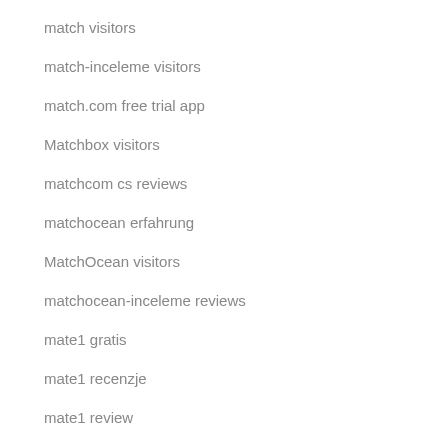match visitors
match-inceleme visitors
match.com free trial app
Matchbox visitors
matchcom cs reviews
matchocean erfahrung
MatchOcean visitors
matchocean-inceleme reviews
mate1 gratis
mate1 recenzje
mate1 review
Mate1 visitors
mature dating dating
mature dating es review
Mature Dating visitors